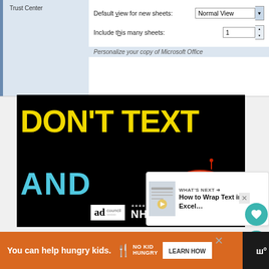[Figure (screenshot): Excel Options dialog showing left navigation panel with Trust Center highlighted, and right panel with Default view for new sheets set to Normal View, Include this many sheets set to 1, and Personalize your copy of Microsoft Office section heading]
[Figure (photo): Advertisement: Black background with yellow text DON'T TEXT and cyan text AND beside a red cartoon car emoji. Ad Council and NHTSA logos at bottom. Close X button in top right. What's Next panel showing How to Wrap Text in Excel thumbnail.]
[Figure (photo): Bottom advertisement bar: orange background with text You can help hungry kids. No Kid Hungry logo and Learn How button. Dark right panel with Treehouse logo.]